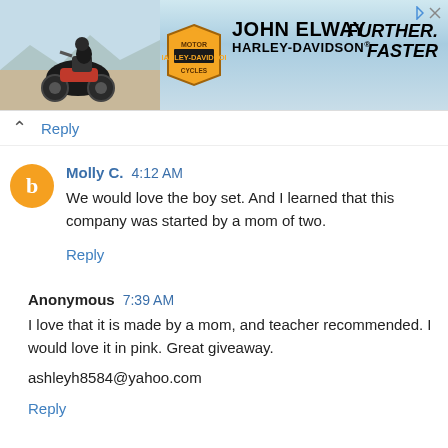[Figure (screenshot): John Elway Harley-Davidson advertisement banner with motorcycle image, HD shield logo, and 'Further. Faster.' tagline]
Reply
Molly C.  4:12 AM
We would love the boy set. And I learned that this company was started by a mom of two.
Reply
Anonymous  7:39 AM
I love that it is made by a mom, and teacher recommended. I would love it in pink. Great giveaway.

ashleyh8584@yahoo.com
Reply